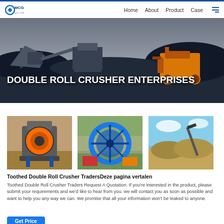MCG | Home  About  Product  Case
[Figure (photo): Hero banner photo of industrial crusher machinery and equipment on a mining site with dark gravel mounds and a yellow front-loader, overlaid with text DOUBLE ROLL CRUSHER ENTERPRISES]
DOUBLE ROLL CRUSHER ENTERPRISES
[Figure (photo): Three product images: left - vertical shaft impact crusher (VSI) in factory, center - blue sand washing wheel machine outdoors, right - aggregates/gravel stockpile site with conveyor]
Toothed Double Roll Crusher TradersDeze pagina vertalen
Toothed Double Roll Crusher Traders Request A Quotation. If you're interested in the product, please submit your requirements and we'd like to hear from you. we will contact you as soon as possible and want to help you any way we can. We promise that all your information won't be leaked to anyone.
Get Price